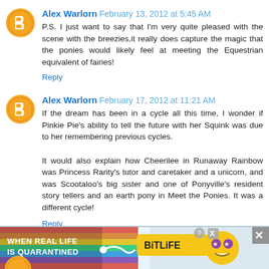Alex Warlorn  February 13, 2012 at 5:45 AM
P.S. I just want to say that I'm very quite pleased with the scene with the breezies,it really does capture the magic that the ponies would likely feel at meeting the Equestrian equivalent of fairies!
Reply
Alex Warlorn  February 17, 2012 at 11:21 AM
If the dream has been in a cycle all this time, I wonder if Pinkie Pie's ability to tell the future with her Squink was due to her remembering previous cycles.

It would also explain how Cheerilee in Runaway Rainbow was Princess Rarity's tutor and caretaker and a unicorn, and was Scootaloo's big sister and one of Ponyville's resident story tellers and an earth pony in Meet the Ponies. It was a different cycle!
Reply
[Figure (screenshot): Advertisement banner: BitLife 'When Real Life Is Quarantined' colorful rainbow ad with emoji characters and close button]